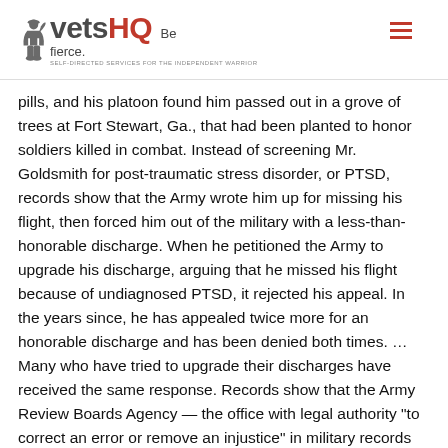vetsHQ Be fierce. SELF-DIRECTED SERVICES FOR THE INDEPENDENT WARRIOR
pills, and his platoon found him passed out in a grove of trees at Fort Stewart, Ga., that had been planted to honor soldiers killed in combat. Instead of screening Mr. Goldsmith for post-traumatic stress disorder, or PTSD, records show that the Army wrote him up for missing his flight, then forced him out of the military with a less-than-honorable discharge. When he petitioned the Army to upgrade his discharge, arguing that he missed his flight because of undiagnosed PTSD, it rejected his appeal. In the years since, he has appealed twice more for an honorable discharge and has been denied both times. … Many who have tried to upgrade their discharges have received the same response. Records show that the Army Review Boards Agency — the office with legal authority “to correct an error or remove an injustice” in military records — has rejected a vast majority of cases that involve PTSD in recent years. Since 2001, more than 300,000 people, about 13 percent of all troops, have